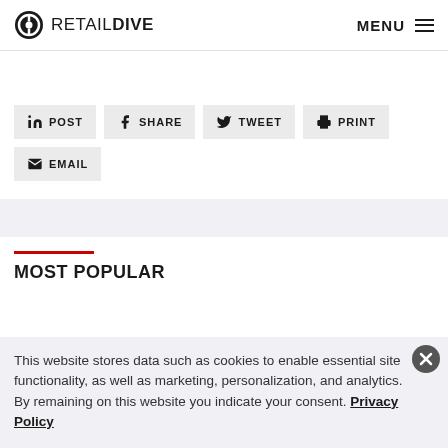RETAIL DIVE | MENU
[Figure (infographic): Social sharing buttons: POST (LinkedIn), SHARE (Facebook), TWEET (Twitter), PRINT (printer), EMAIL (envelope icon)]
MOST POPULAR
This website stores data such as cookies to enable essential site functionality, as well as marketing, personalization, and analytics. By remaining on this website you indicate your consent. Privacy Policy